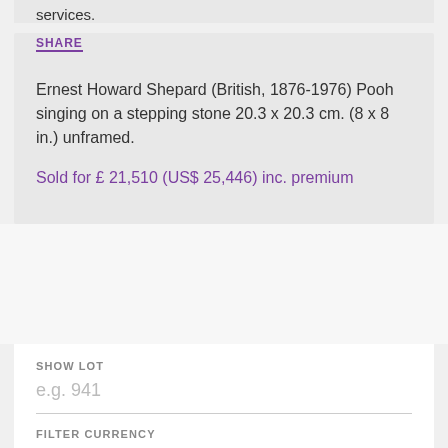services.
SHARE
Ernest Howard Shepard (British, 1876-1976) Pooh singing on a stepping stone 20.3 x 20.3 cm. (8 x 8 in.) unframed.
Sold for £ 21,510 (US$ 25,446) inc. premium
SHOW LOT
e.g. 941
FILTER CURRENCY
Select alternate currency
SORT